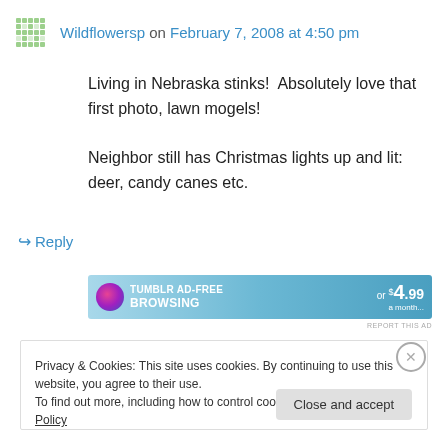Wildflowersp on February 7, 2008 at 4:50 pm
Living in Nebraska stinks!  Absolutely love that first photo, lawn mogels!
Neighbor still has Christmas lights up and lit: deer, candy canes etc.
↳ Reply
[Figure (screenshot): Tumblr ad banner: TUMBLR AD-FREE BROWSING or $4.99 a month]
REPORT THIS AD
Privacy & Cookies: This site uses cookies. By continuing to use this website, you agree to their use.
To find out more, including how to control cookies, see here: Cookie Policy
Close and accept